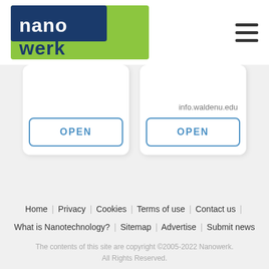[Figure (logo): Nanowerk logo — blue and green stylized text logo]
[Figure (other): Hamburger menu icon (three horizontal lines)]
info.waldenu.edu
OPEN
OPEN
Home | Privacy | Cookies | Terms of use | Contact us | What is Nanotechnology? | Sitemap | Advertise | Submit news
The contents of this site are copyright ©2005-2022 Nanowerk. All Rights Reserved.